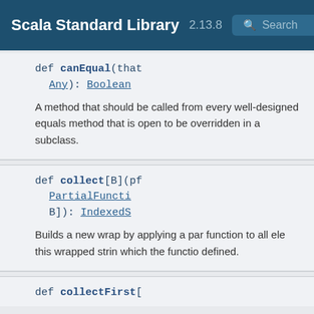Scala Standard Library 2.13.8 Search
def canEqual(that Any): Boolean
A method that should be called from every well-designed equals method that is open to be overridden in a subclass.
def collect[B](pf PartialFuncti B]): IndexedS
Builds a new wrap by applying a par function to all ele this wrapped strin which the functio defined.
def collectFirst[